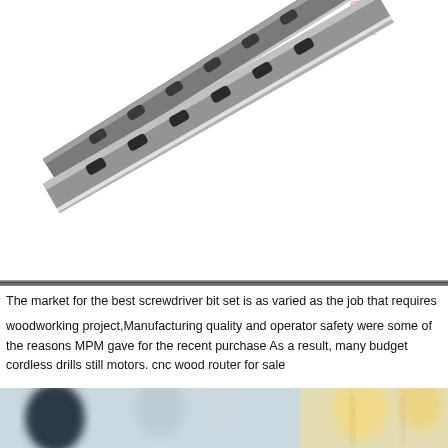[Figure (photo): Two metal planer/jointer blades with slotted holes, photographed on white background with a partial pink/red logo visible in upper right corner]
The market for the best screwdriver bit set is as varied as the job that requires
woodworking project,Manufacturing quality and operator safety were some of the reasons MPM gave for the recent purchase As a result, many budget cordless drills still motors. cnc wood router for sale
[Figure (photo): Blurred photo of people in a meeting or gathering, with warm yellow/orange and blue tones]